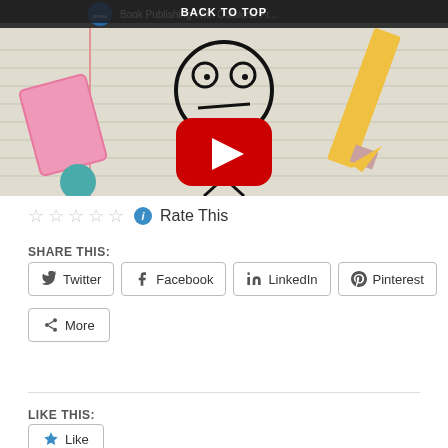[Figure (screenshot): YouTube video thumbnail showing a stick figure drawn on notebook paper with pink eraser and pencil, with YouTube play button overlay and 'BACK TO TOP' bar at top]
Rate This
SHARE THIS:
Twitter
Facebook
LinkedIn
Pinterest
More
LIKE THIS:
Like